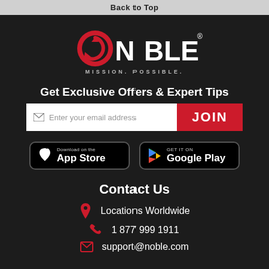Back to Top
[Figure (logo): Noble logo with red circular arrow icon replacing the O, white bold text NOBLE with red registered trademark symbol, tagline MISSION. POSSIBLE. in white below]
Get Exclusive Offers & Expert Tips
Enter your email address  JOIN
[Figure (infographic): Download on the App Store button (black with Apple logo) and Get it on Google Play button (black with Play logo)]
Contact Us
Locations Worldwide
1 877 999 1911
support@noble.com